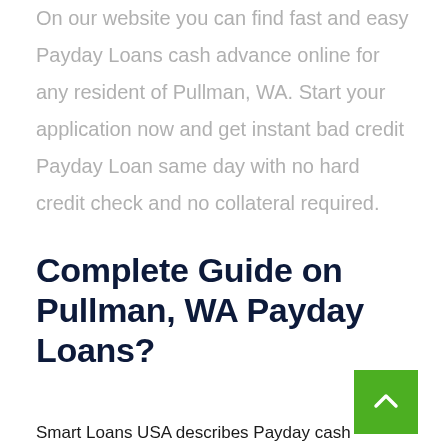On our website you can find fast and easy Payday Loans cash advance online for any resident of Pullman, WA. Start your application now and get instant bad credit Payday Loan same day with no hard credit check and no collateral required.
Complete Guide on Pullman, WA Payday Loans?
Smart Loans USA describes Payday cash advance, or Payday Loans, or Payday advance as short-term